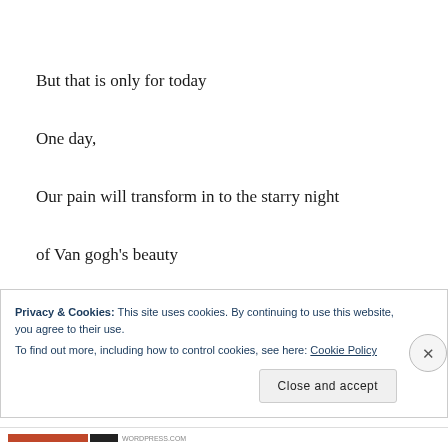But that is only for today
One day,
Our pain will transform in to the starry night
of Van gogh's beauty
our colors
Privacy & Cookies: This site uses cookies. By continuing to use this website, you agree to their use.
To find out more, including how to control cookies, see here: Cookie Policy
Close and accept